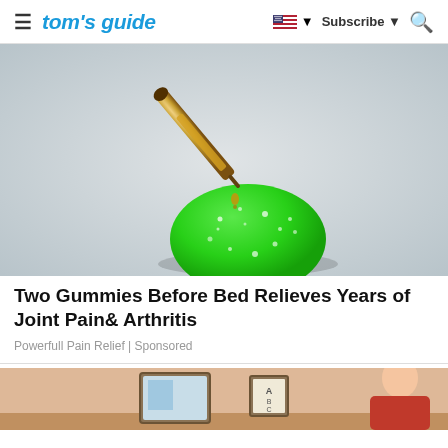tom's guide | Subscribe | (flag) (search)
[Figure (photo): Close-up photo of a green sugar-coated gummy candy with golden liquid (CBD oil) being dripped onto it from a dropper, set against a light grey background.]
Two Gummies Before Bed Relieves Years of Joint Pain& Arthritis
Powerfull Pain Relief | Sponsored
[Figure (photo): Partial photo of a person standing in a room, with a mirror and framed artwork visible in the background.]